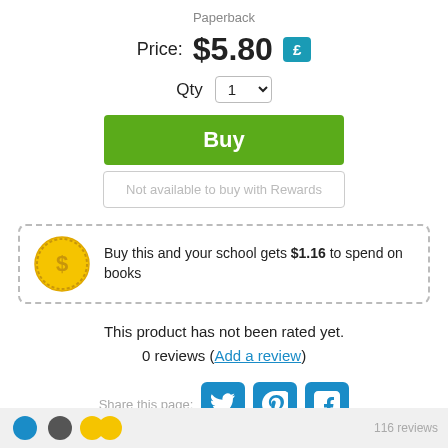Paperback
Price: $5.80 £
Qty 1
Buy
Not available to buy with Rewards
Buy this and your school gets $1.16 to spend on books
This product has not been rated yet.
0 reviews (Add a review)
Share this page:
[Figure (infographic): Social share buttons for Twitter, Pinterest, and Facebook]
116 reviews